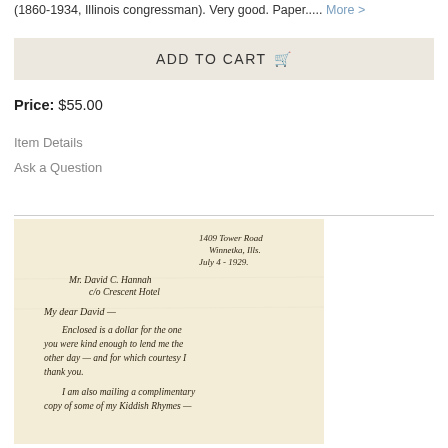(1860-1934, Illinois congressman). Very good. Paper..... More >
ADD TO CART
Price: $55.00
Item Details
Ask a Question
[Figure (photo): Handwritten letter on aged paper dated July 4, 1929, addressed to Mr. David C. Hannah c/o Crescent Hotel, beginning 'My dear David — Enclosed is a dollar for the one you were kind enough to lend me the other day — and for which courtesy I thank you. I am also mailing a complimentary copy of some of my Kiddish Rhymes —']